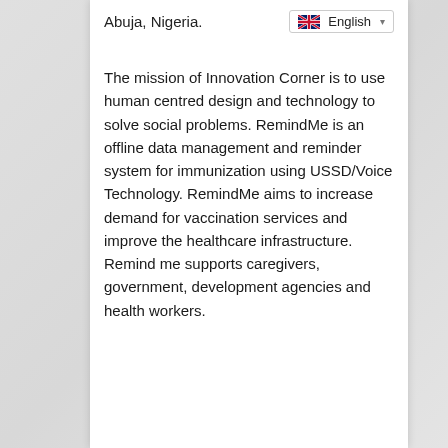Abuja, Nigeria.
The mission of Innovation Corner is to use human centred design and technology to solve social problems. RemindMe is an offline data management and reminder system for immunization using USSD/Voice Technology. RemindMe aims to increase demand for vaccination services and improve the healthcare infrastructure. Remind me supports caregivers, government, development agencies and health workers.